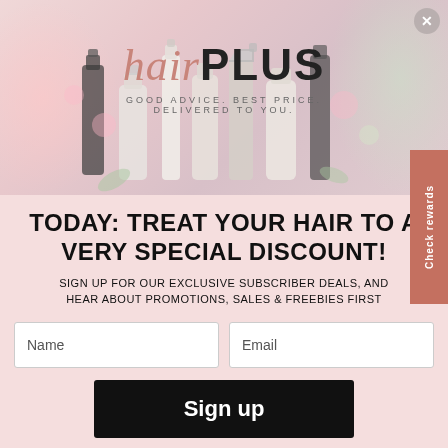[Figure (photo): Hero banner with hairPlus logo, hair product bottles, and floral decorations on a soft pink background]
TODAY: TREAT YOUR HAIR TO A VERY SPECIAL DISCOUNT!
SIGN UP FOR OUR EXCLUSIVE SUBSCRIBER DEALS, AND HEAR ABOUT PROMOTIONS, SALES & FREEBIES FIRST
Name | Email (form fields)
Sign up